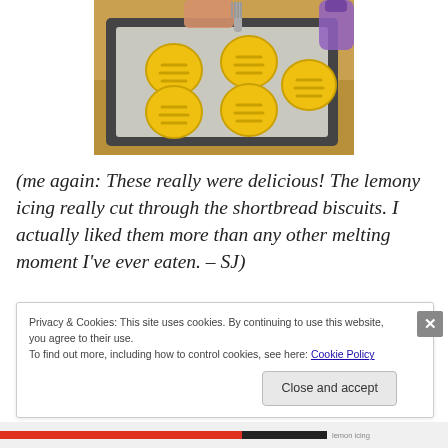[Figure (photo): Photo of yellow cookie/biscuit doughs being pressed with a fork on a baking tray lined with parchment paper. A hand holding a fork is visible at the top.]
(me again: These really were delicious! The lemony icing really cut through the shortbread biscuits. I actually liked them more than any other melting moment I've ever eaten. – SJ)
Privacy & Cookies: This site uses cookies. By continuing to use this website, you agree to their use.
To find out more, including how to control cookies, see here: Cookie Policy
Close and accept